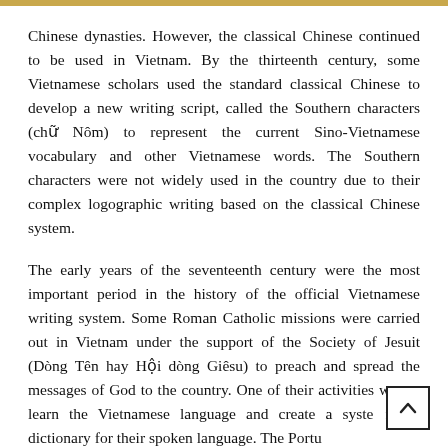Chinese dynasties. However, the classical Chinese continued to be used in Vietnam. By the thirteenth century, some Vietnamese scholars used the standard classical Chinese to develop a new writing script, called the Southern characters (chữ Nôm) to represent the current Sino-Vietnamese vocabulary and other Vietnamese words. The Southern characters were not widely used in the country due to their complex logographic writing based on the classical Chinese system.
The early years of the seventeenth century were the most important period in the history of the official Vietnamese writing system. Some Roman Catholic missions were carried out in Vietnam under the support of the Society of Jesuit (Dòng Tên hay Hội dòng Giêsu) to preach and spread the messages of God to the country. One of their activities was to learn the Vietnamese language and create a systematic dictionary for their spoken language. The Portug...